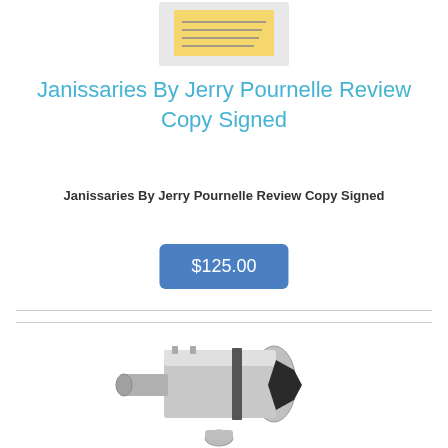[Figure (photo): A book with a yellow label/sticker on the cover - Janissaries by Jerry Pournelle, review copy signed]
Janissaries By Jerry Pournelle Review Copy Signed
Janissaries By Jerry Pournelle Review Copy Signed
$125.00
[Figure (photo): A motorcycle exhaust pipe/muffler, silver metallic with black end cap, shown at an angle with a small connector piece]